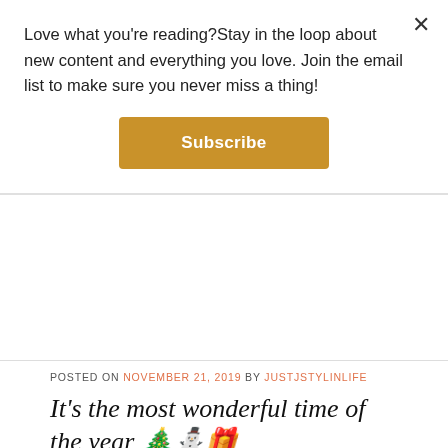Love what you're reading?Stay in the loop about new content and everything you love. Join the email list to make sure you never miss a thing!
Subscribe
POSTED ON NOVEMBER 21, 2019 BY JUSTJSTYLINLIFE
It's the most wonderful time of the year 🎄⛄🎁
It's Christmas season 2019 baby! Whether you're ready or not, the Christmas spirit is already in full effect with blogger after blogger sharing holiday themed photos, decorated Christmas trees and homes, and their version of a holiday gift guide (um.. hi 👋). Here I'm sharing what's on my Christmas list this year – items I have been needing, and items I already love. There's